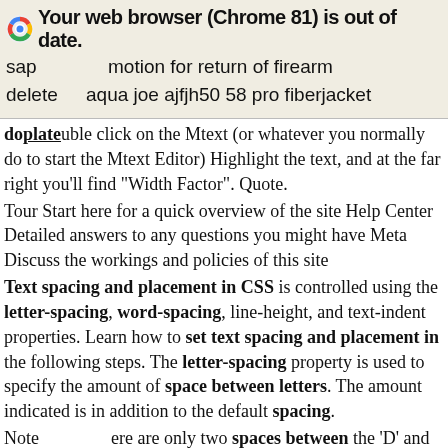Your web browser (Chrome 81) is out of date.
sap    motion for return of firearm
delete   aqua joe ajfjh50 58 pro fiberjacket
double click on the Mtext (or whatever you normally do to start the Mtext Editor) Highlight the text, and at the far right you'll find "Width Factor". Quote.
Tour Start here for a quick overview of the site Help Center Detailed answers to any questions you might have Meta Discuss the workings and policies of this site
Text spacing and placement in CSS is controlled using the letter-spacing, word-spacing, line-height, and text-indent properties. Learn how to set text spacing and placement in the following steps. The letter-spacing property is used to specify the amount of space between letters. The amount indicated is in addition to the default spacing.
Note there are only two spaces between the 'D' and the 'M'. That that the normal rule of adding a space after each character xcept the last is not followed in the case of embedded ...